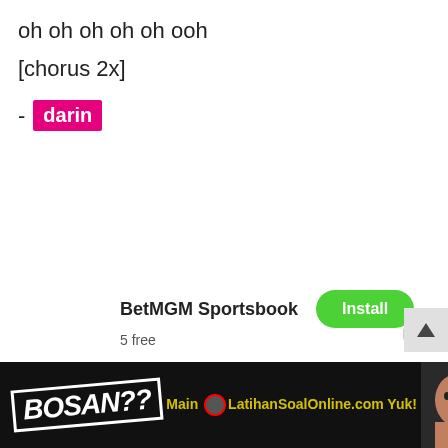oh oh oh oh oh ooh
[chorus 2x]
- darin
[Figure (infographic): BetMGM Sportsbook advertisement with Install button and '5 free' subtext, AD label]
[Figure (infographic): Bottom black banner: BOSAN?? text with Main LatihanSoalOnline.com Yuk! in yellow, person's face on right]